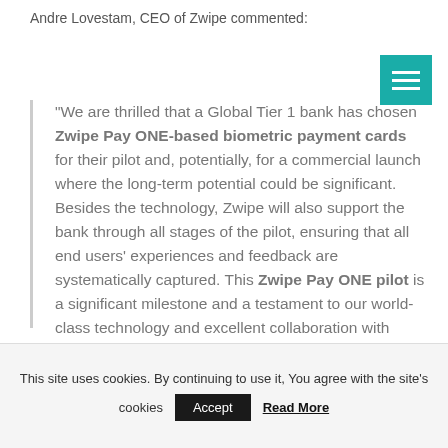Andre Lovestam, CEO of Zwipe commented:
"We are thrilled that a Global Tier 1 bank has chosen Zwipe Pay ONE-based biometric payment cards for their pilot and, potentially, for a commercial launch where the long-term potential could be significant. Besides the technology, Zwipe will also support the bank through all stages of the pilot, ensuring that all end users' experiences and feedback are systematically captured. This Zwipe Pay ONE pilot is a significant milestone and a testament to our world-class technology and excellent collaboration with strong partners in all parts of the payments ecosystem."
This site uses cookies. By continuing to use it, You agree with the site's cookies Accept Read More